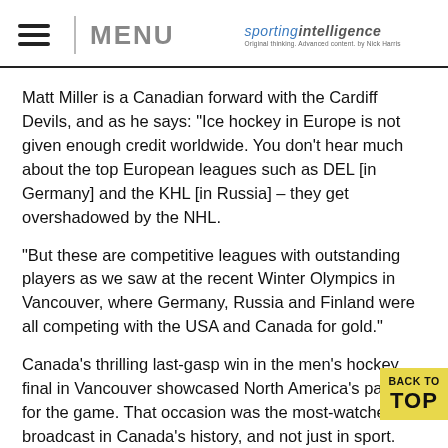MENU | sportingintelligence
Matt Miller is a Canadian forward with the Cardiff Devils, and as he says: "Ice hockey in Europe is not given enough credit worldwide. You don't hear much about the top European leagues such as DEL [in Germany] and the KHL [in Russia] – they get overshadowed by the NHL.
"But these are competitive leagues with outstanding players as we saw at the recent Winter Olympics in Vancouver, where Germany, Russia and Finland were all competing with the USA and Canada for gold."
Canada's thrilling last-gasp win in the men's hockey final in Vancouver showcased North America's passion for the game. That occasion was the most-watched TV broadcast in Canada's history, and not just in sport.
Half of Canada (17m people) watched the whole thing, and per cent watched part of it. It wasn't just a host nation